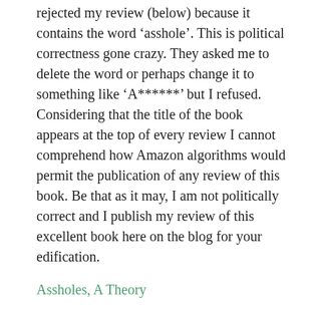rejected my review (below) because it contains the word 'asshole'. This is political correctness gone crazy. They asked me to delete the word or perhaps change it to something like 'A******' but I refused. Considering that the title of the book appears at the top of every review I cannot comprehend how Amazon algorithms would permit the publication of any review of this book. Be that as it may, I am not politically correct and I publish my review of this excellent book here on the blog for your edification.
Assholes, A Theory
Bravo for a brilliant book. Dr. James takes what appears at first to be a trivial notion, “the asshole” as a metaphor for a particular sort of human behavior and uses it to illustrate how philosophy is